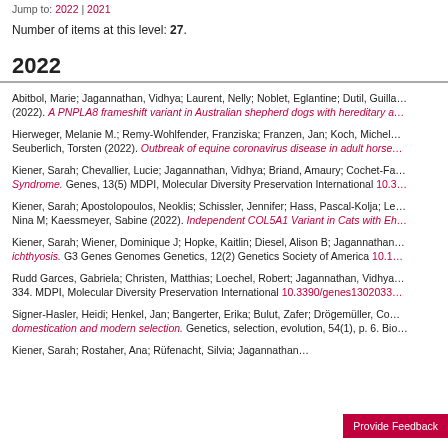Jump to: 2022 | 2021
Number of items at this level: 27.
2022
Abitbol, Marie; Jagannathan, Vidhya; Laurent, Nelly; Noblet, Eglantine; Dutil, Guilla… (2022). A PNPLA8 frameshift variant in Australian shepherd dogs with hereditary a…
Hierweger, Melanie M.; Remy-Wohlfender, Franziska; Franzen, Jan; Koch, Michel… Seuberlich, Torsten (2022). Outbreak of equine coronavirus disease in adult horse…
Kiener, Sarah; Chevallier, Lucie; Jagannathan, Vidhya; Briand, Amaury; Cochet-Fa… Syndrome. Genes, 13(5) MDPI, Molecular Diversity Preservation International 10.3…
Kiener, Sarah; Apostolopoulos, Neoklis; Schissler, Jennifer; Hass, Pascal-Kolja; Le… Nina M; Kaessmeyer, Sabine (2022). Independent COL5A1 Variant in Cats with Eh…
Kiener, Sarah; Wiener, Dominique J; Hopke, Kaitlin; Diesel, Alison B; Jagannathan… ichthyosis. G3 Genes Genomes Genetics, 12(2) Genetics Society of America 10.1…
Rudd Garces, Gabriela; Christen, Matthias; Loechel, Robert; Jagannathan, Vidhya… 334. MDPI, Molecular Diversity Preservation International 10.3390/genes1302033…
Signer-Hasler, Heidi; Henkel, Jan; Bangerter, Erika; Bulut, Zafer; Drögemüller, Co… domestication and modern selection. Genetics, selection, evolution, 54(1), p. 6. Bio…
Kiener, Sarah; Rostaher, Ana; Rüfenacht, Silvia; Jagannathan…